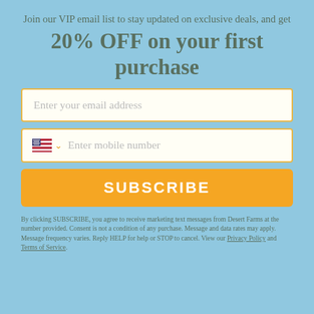Join our VIP email list to stay updated on exclusive deals, and get
20% OFF on your first purchase
[Figure (screenshot): Email input field with placeholder text 'Enter your email address', white background with orange border]
[Figure (screenshot): Mobile number input field with US flag selector, chevron, and placeholder 'Enter mobile number', white background with orange border]
[Figure (screenshot): Orange SUBSCRIBE button]
By clicking SUBSCRIBE, you agree to receive marketing text messages from Desert Farms at the number provided. Consent is not a condition of any purchase. Message and data rates may apply. Message frequency varies. Reply HELP for help or STOP to cancel. View our Privacy Policy and Terms of Service.